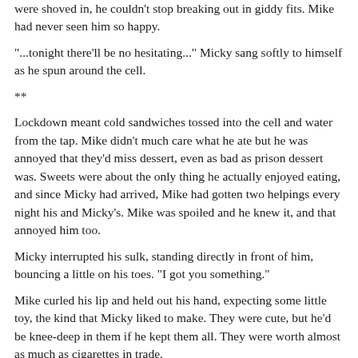were shoved in, he couldn't stop breaking out in giddy fits. Mike had never seen him so happy.
"...tonight there'll be no hesitating..." Micky sang softly to himself as he spun around the cell.
**
Lockdown meant cold sandwiches tossed into the cell and water from the tap. Mike didn't much care what he ate but he was annoyed that they'd miss dessert, even as bad as prison dessert was. Sweets were about the only thing he actually enjoyed eating, and since Micky had arrived, Mike had gotten two helpings every night his and Micky's. Mike was spoiled and he knew it, and that annoyed him too.
Micky interrupted his sulk, standing directly in front of him, bouncing a little on his toes. "I got you something."
Mike curled his lip and held out his hand, expecting some little toy, the kind that Micky liked to make. They were cute, but he'd be knee-deep in them if he kept them all. They were worth almost as much as cigarettes in trade.
"Wait. Close your eyes," Micky said, his voice bubbling with excitement. While he was waiting, Mike heard Micky rummaging